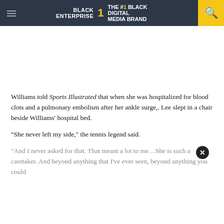BLACK ENTERPRISE THE #1 BLACK DIGITAL MEDIA BRAND
Williams told Sports Illustrated that when she was hospitalized for blood clots and a pulmonary embolism after her ankle surge,. Lee slept in a chair beside Williams’ hospital bed.
“She never left my side,” the tennis legend said.
“And I never asked for that. That meant a lot to me…She is such a caretaker. And beyond anything that I’ve ever seen, beyond anything you could